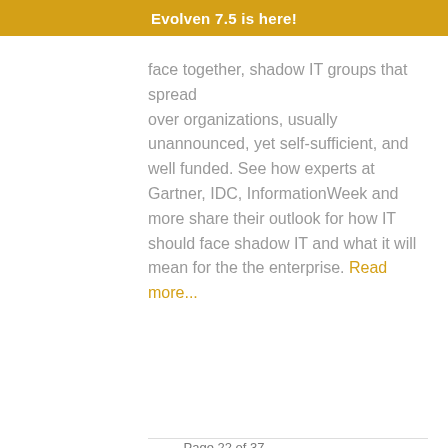Evolven 7.5 is here!
face together, shadow IT groups that spread over organizations, usually unannounced, yet self-sufficient, and well funded. See how experts at Gartner, IDC, InformationWeek and more share their outlook for how IT should face shadow IT and what it will mean for the the enterprise. Read more...
Page 22 of 37 | Start | Prev | 17 | 18 | 19 | 20 | 21 | 22 | 23 | 24 | 25 | 26 | Next | End